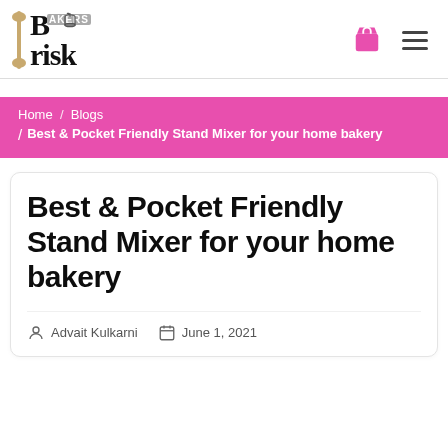Bakers Brisk
Home / Blogs / Best & Pocket Friendly Stand Mixer for your home bakery
Best & Pocket Friendly Stand Mixer for your home bakery
Advait Kulkarni   June 1, 2021